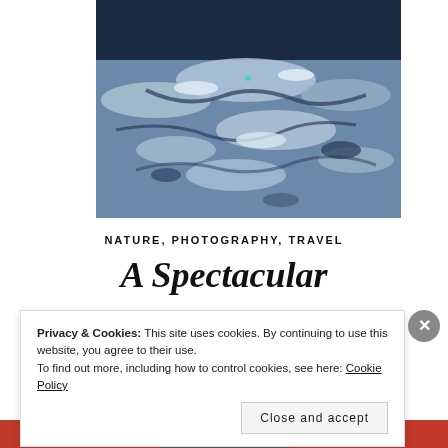[Figure (photo): Aerial or close-up photograph of a snowy, icy landscape with shadows and terrain features, taken from above. The scene shows snow-covered ground with blue-tinted shadows and irregular formations.]
NATURE, PHOTOGRAPHY, TRAVEL
A Spectacular
Privacy & Cookies: This site uses cookies. By continuing to use this website, you agree to their use.
To find out more, including how to control cookies, see here: Cookie Policy
Close and accept